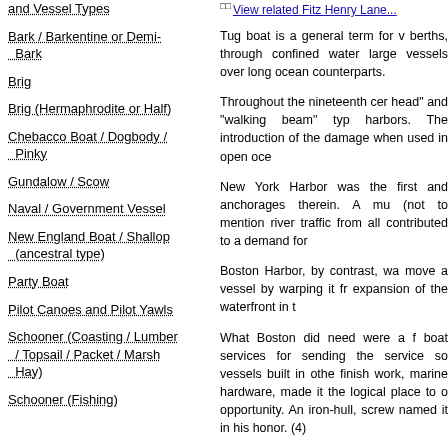and Vessel Types
Bark / Barkentine or Demi-Bark
Brig
Brig (Hermaphrodite or Half)
Chebacco Boat / Dogbody / Pinky
Gundalow / Scow
Naval / Government Vessel
New England Boat / Shallop (ancestral type)
Party Boat
Pilot Canoes and Pilot Yawls
Schooner (Coasting / Lumber / Topsail / Packet / Marsh Hay)
Schooner (Fishing)
View related Fitz Henry Lane...
Tug boat is a general term for vessels that assist larger ships in maneuvering into berths, through confined waters... large vessels over long ocean... counterparts.
Throughout the nineteenth century, head and walking beam type harbors. The introduction of the damage when used in open ocean.
New York Harbor was the first and anchorages therein. A multitude (not to mention river traffic from) all contributed to a demand for tug boats.
Boston Harbor, by contrast, was move a vessel by warping it from expansion of the waterfront in the...
What Boston did need were a few boat services for sending the service so vessels built in other finish work, marine hardware, made it the logical place to opportunity. An iron-hull, screw named it in his honor. (4)